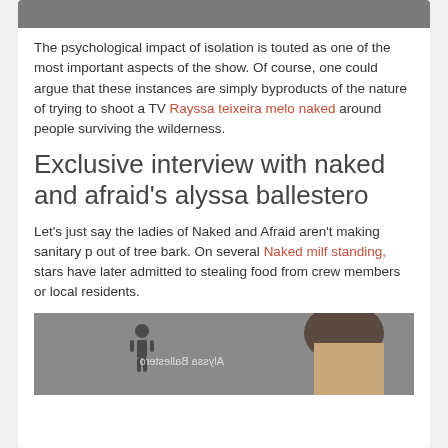[Figure (photo): Top cropped image, dark/grey tones]
The psychological impact of isolation is touted as one of the most important aspects of the show. Of course, one could argue that these instances are simply byproducts of the nature of trying to shoot a TV Rayssa teixeira melo naked around people surviving the wilderness.
Exclusive interview with naked and afraid's alyssa ballestero
Let's just say the ladies of Naked and Afraid aren't making sanitary p out of tree bark. On several Naked milf standing, stars have later admitted to stealing food from crew members or local residents.
[Figure (photo): Bottom image showing a person, with watermark text 'Alyssa Ballestero' mirrored, and human figure icon]